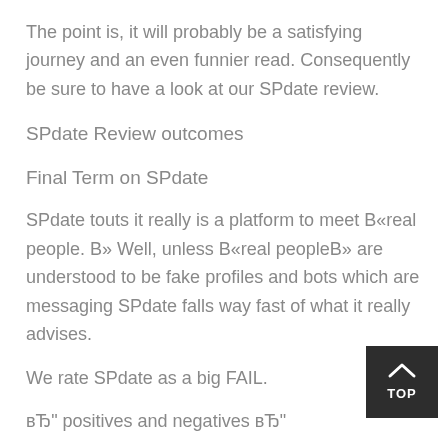The point is, it will probably be a satisfying journey and an even funnier read. Consequently be sure to have a look at our SPdate review.
SPdate Review outcomes
Final Term on SPdate
SPdate touts it really is a platform to meet B«real people. B» Well, unless B«real peopleB» are understood to be fake profiles and bots which are messaging SPdate falls way fast of what it really advises.
We rate SPdate as a big FAIL.
вЂ" positives and negatives вЂ"